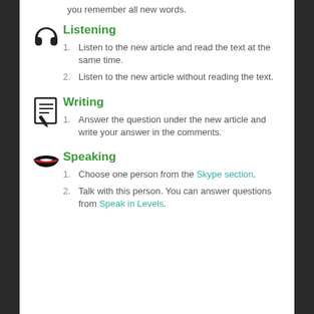you remember all new words.
Listening
Listen to the new article and read the text at the same time.
Listen to the new article without reading the text.
Writing
Answer the question under the new article and write your answer in the comments.
Speaking
Choose one person from the Skype section.
Talk with this person. You can answer questions from Speak in Levels.